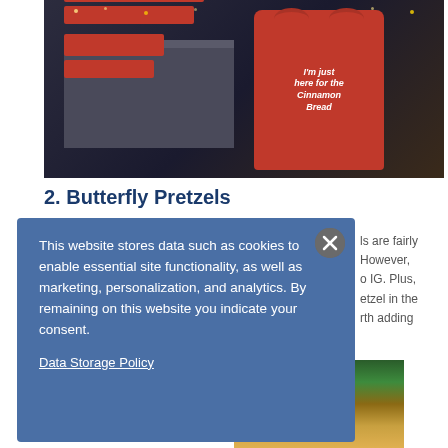[Figure (photo): A store display showing red merchandise items on a dark wooden shelf, and a large red t-shirt hanging that reads 'I'm just here for the Cinnamon Bread' with twinkling star lights in the background.]
2. Butterfly Pretzels
ls are fairly However, o IG. Plus, etzel in the rth adding
[Figure (photo): Partial photo of colorful pretzels or twisted food items, showing green and other colored items.]
This website stores data such as cookies to enable essential site functionality, as well as marketing, personalization, and analytics. By remaining on this website you indicate your consent.
Data Storage Policy